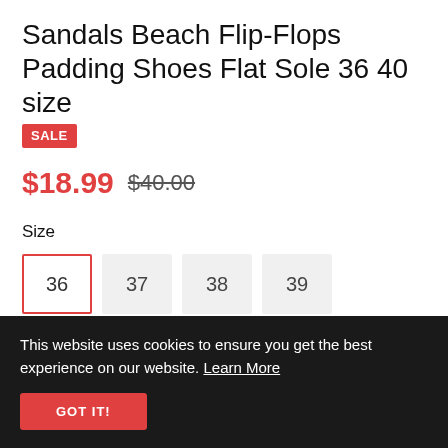Sandals Beach Flip-Flops Padding Shoes Flat Sole 36 40 size SALE
$18.99  $40.00
Size
36  37  38  39
Color
[Figure (other): Color swatches showing 8 shoe color options: white, pink, yellow, silver, yellow-alt, mint, pink-alt, light-green. White swatch is selected (red border).]
This website uses cookies to ensure you get the best experience on our website. Learn More
GOT IT!